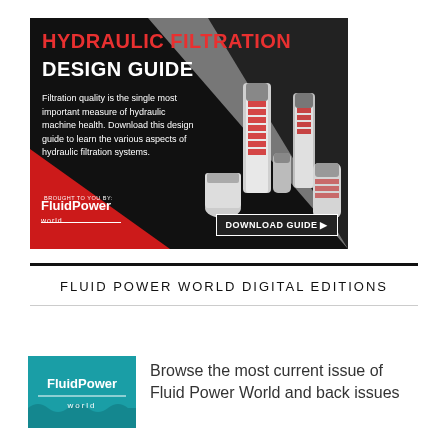[Figure (illustration): Advertisement banner for Hydraulic Filtration Design Guide by Fluid Power World. Dark background with red and gray triangles. Shows hydraulic filter products on right side. Text: HYDRAULIC FILTRATION DESIGN GUIDE. Filtration quality is the single most important measure of hydraulic machine health. Download this design guide to learn the various aspects of hydraulic filtration systems. Brought to you by: FluidPower world. DOWNLOAD GUIDE button.]
FLUID POWER WORLD DIGITAL EDITIONS
[Figure (logo): FluidPower World magazine logo in teal/cyan box]
Browse the most current issue of Fluid Power World and back issues